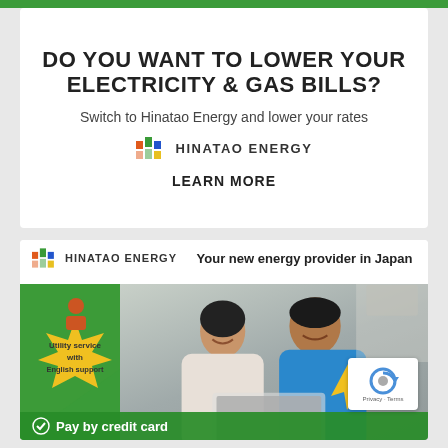DO YOU WANT TO LOWER YOUR ELECTRICITY & GAS BILLS?
Switch to Hinatao Energy and lower your rates
[Figure (logo): Hinatao Energy logo with colored bar icon and uppercase text HINATAO ENERGY]
LEARN MORE
[Figure (infographic): Hinatao Energy advertisement banner showing logo, tagline 'Your new energy provider in Japan', photo of couple looking at laptop, utility service with English support badge, pay by credit card footer, and lightning bolt badge]